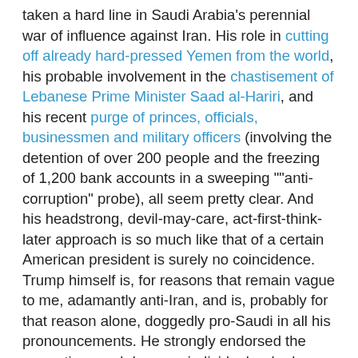taken a hard line in Saudi Arabia's perennial war of influence against Iran. His role in cutting off already hard-pressed Yemen from the world, his probable involvement in the chastisement of Lebanese Prime Minister Saad al-Hariri, and his recent purge of princes, officials, businessmen and military officers (involving the detention of over 200 people and the freezing of 1,200 bank accounts in a sweeping ""anti-corruption" probe), all seem pretty clear. And his headstrong, devil-may-care, act-first-think-later approach is so much like that of a certain American president is surely no coincidence.
Trump himself is, for reasons that remain vague to me, adamantly anti-Iran, and is, probably for that reason alone, doggedly pro-Saudi in all his pronouncements. He strongly endorsed the corruption crackdown on individuals who he accused of "milking" the regime for years. US Secretary of State Rex Tillerson, on the other hand, has been much more guarded in his comments.
It is looking as though the Prince has overreached himself, though, and he is now frantically backpedalling in the face of sharp criticism from human rights, humanitarian and aid agencies, from the United Nations as a whole, and even